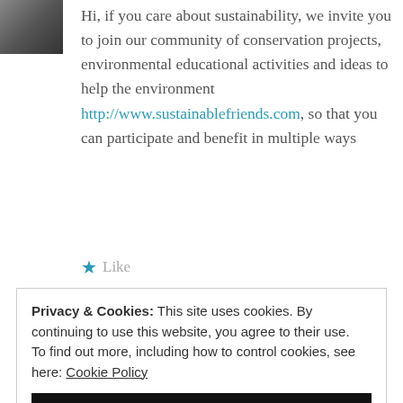[Figure (photo): Small avatar photo of a person, partially visible in upper left corner]
Hi, if you care about sustainability, we invite you to join our community of conservation projects, environmental educational activities and ideas to help the environment http://www.sustainablefriends.com, so that you can participate and benefit in multiple ways
★ Like
Privacy & Cookies: This site uses cookies. By continuing to use this website, you agree to their use.
To find out more, including how to control cookies, see here: Cookie Policy
CLOSE AND ACCEPT